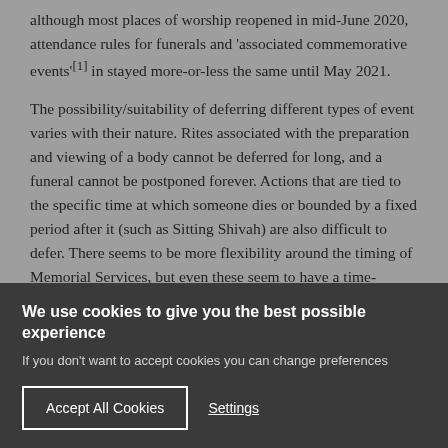although most places of worship reopened in mid-June 2020, attendance rules for funerals and 'associated commemorative events'[1] in stayed more-or-less the same until May 2021.
The possibility/suitability of deferring different types of event varies with their nature. Rites associated with the preparation and viewing of a body cannot be deferred for long, and a funeral cannot be postponed forever. Actions that are tied to the specific time at which someone dies or bounded by a fixed period after it (such as Sitting Shivah) are also difficult to defer. There seems to be more flexibility around the timing of Memorial Services, but even these seem to have a time-limited relevance: it increasingly seems that some feel like the opportunity has
We use cookies to give you the best possible experience
If you don't want to accept cookies you can change preferences
Accept All Cookies
Settings